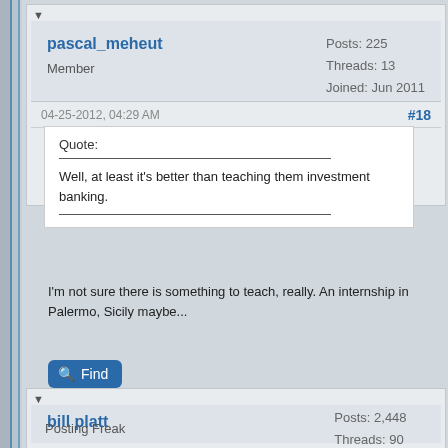pascal_meheut
Member
Posts: 225
Threads: 13
Joined: Jun 2011
04-25-2012, 04:29 AM
#18
Quote:
Well, at least it's better than teaching them investment banking.
I'm not sure there is something to teach, really. An internship in Palermo, Sicily maybe...
Find
bill platt
Posting Freak
Posts: 2,448
Threads: 90
Joined: Jul 2005